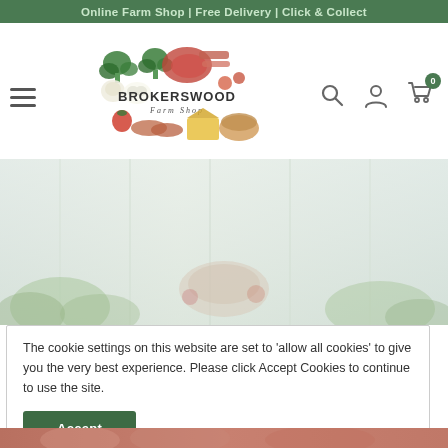Online Farm Shop | Free Delivery | Click & Collect
[Figure (logo): Brokerswood Farm Shop logo with illustrated vegetables, meats and cheeses surrounding the text BROKERSWOOD Farm Shop]
[Figure (photo): Hero image of farm produce on a light-colored surface, muted greens and whites, slightly washed out]
The cookie settings on this website are set to 'allow all cookies' to give you the very best experience. Please click Accept Cookies to continue to use the site.
[Figure (photo): Partial bottom strip showing reddish-pink farm produce image, cropped]